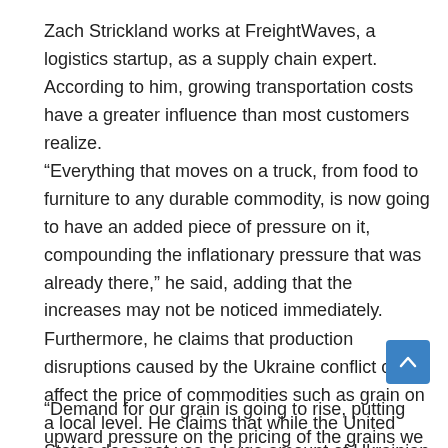Zach Strickland works at FreightWaves, a logistics startup, as a supply chain expert. According to him, growing transportation costs have a greater influence than most customers realize.
“Everything that moves on a truck, from food to furniture to any durable commodity, is now going to have an added piece of pressure on it, compounding the inflationary pressure that was already there,” he said, adding that the increases may not be noticed immediately.
Furthermore, he claims that production disruptions caused by the Ukraine conflict can affect the price of commodities such as grain on a local level. He claims that while the United States does not use a large amount of Ukrainian grain goods, many countries in that region do. Due to a reduction in Ukrainian supply, U.S. products are expected to suffer.
“Demand for our grain is going to rise, putting upward pressure on the pricing of the grains we produce,” Strickland predicted